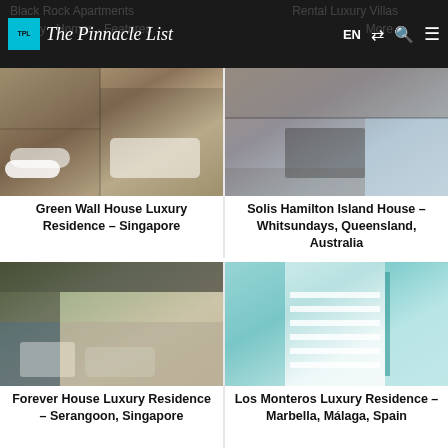The Pinnacle List — EN
[Figure (photo): Luxury bathroom interior with stone walls and freestanding bathtub — Green Wall House, Singapore]
Green Wall House Luxury Residence – Singapore
[Figure (photo): Modern open-plan living area with ocean views — Solis Hamilton Island House, Queensland, Australia]
Solis Hamilton Island House – Whitsundays, Queensland, Australia
[Figure (photo): Living room with pool view — Forever House, Serangoon, Singapore]
Forever House Luxury Residence – Serangoon, Singapore
[Figure (photo): Modern staircase interior — Los Monteros Luxury Residence, Marbella, Spain]
Los Monteros Luxury Residence – Marbella, Málaga, Spain